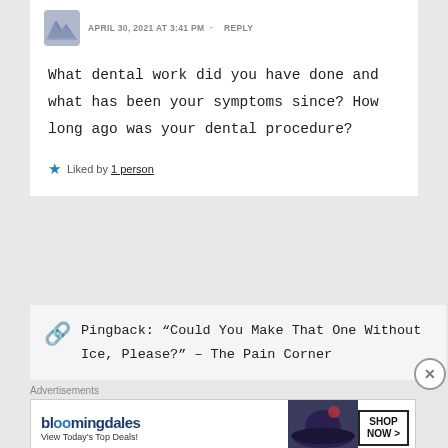APRIL 30, 2021 AT 3:41 PM · REPLY
What dental work did you have done and what has been your symptoms since? How long ago was your dental procedure?
Liked by 1 person
Pingback: “Could You Make That One Without Ice, Please?” – The Pain Corner
Advertisements
[Figure (other): Bloomingdale's advertisement banner: 'View Today’s Top Deals! SHOP NOW >']